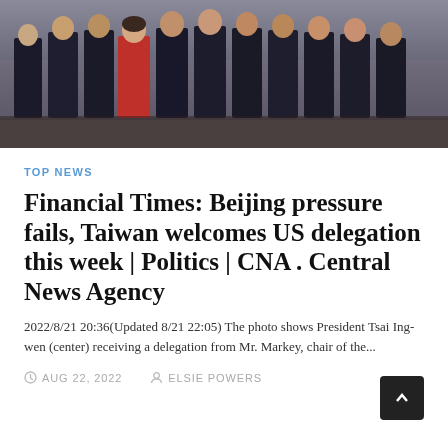[Figure (photo): Group photo of people standing in a row, including a woman in a red dress in the center, surrounded by men in dark suits, in a formal indoor setting.]
TOP NEWS
Financial Times: Beijing pressure fails, Taiwan welcomes US delegation this week | Politics | CNA . Central News Agency
2022/8/21 20:36(Updated 8/21 22:05) The photo shows President Tsai Ing-wen (center) receiving a delegation from Mr. Markey, chair of the...
AUG 22, 2022   ELSIE POWERS